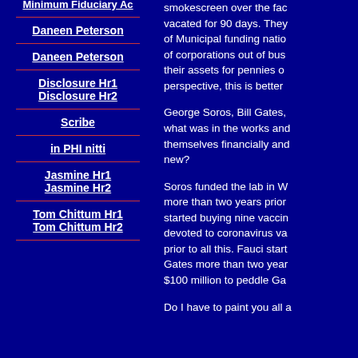Daneen Peterson
Daneen Peterson
Disclosure Hr1
Disclosure Hr2
Scribe
in PHI nitti
Jasmine Hr1
Jasmine Hr2
Tom Chittum Hr1
Tom Chittum Hr2
smokescreen over the fact vacated for 90 days. They of Municipal funding natio of corporations out of busi their assets for pennies o perspective, this is better
George Soros, Bill Gates, what was in the works and themselves financially and new?
Soros funded the lab in W more than two years prior started buying nine vaccin devoted to coronavirus va prior to all this. Fauci start Gates more than two year $100 million to peddle Ga
Do I have to paint you all a